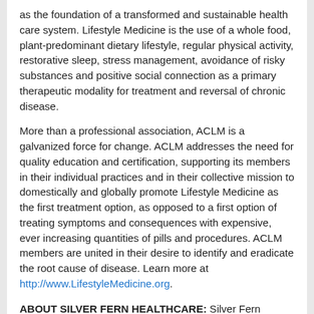as the foundation of a transformed and sustainable health care system. Lifestyle Medicine is the use of a whole food, plant-predominant dietary lifestyle, regular physical activity, restorative sleep, stress management, avoidance of risky substances and positive social connection as a primary therapeutic modality for treatment and reversal of chronic disease.
More than a professional association, ACLM is a galvanized force for change. ACLM addresses the need for quality education and certification, supporting its members in their individual practices and in their collective mission to domestically and globally promote Lifestyle Medicine as the first treatment option, as opposed to a first option of treating symptoms and consequences with expensive, ever increasing quantities of pills and procedures. ACLM members are united in their desire to identify and eradicate the root cause of disease. Learn more at http://www.LifestyleMedicine.org.
ABOUT SILVER FERN HEALTHCARE: Silver Fern Healthcare, LLC is a U.S.-based mission-oriented company that provides a unique, validated Behavior Diagnostic Platform to clinical care teams to improve the management of chronic diseases beyond medical protocols. Silver Fern's proprietary Behavior Diagnostic Platform assesses and addresses key behavior and